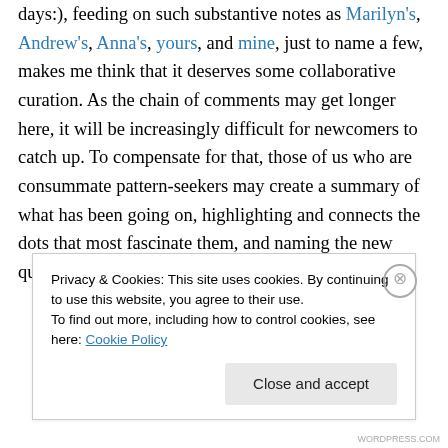days:), feeding on such substantive notes as Marilyn's, Andrew's, Anna's, yours, and mine, just to name a few, makes me think that it deserves some collaborative curation. As the chain of comments may get longer here, it will be increasingly difficult for newcomers to catch up. To compensate for that, those of us who are consummate pattern-seekers may create a summary of what has been going on, highlighting and connects the dots that most fascinate them, and naming the new questions
Privacy & Cookies: This site uses cookies. By continuing to use this website, you agree to their use.
To find out more, including how to control cookies, see here: Cookie Policy